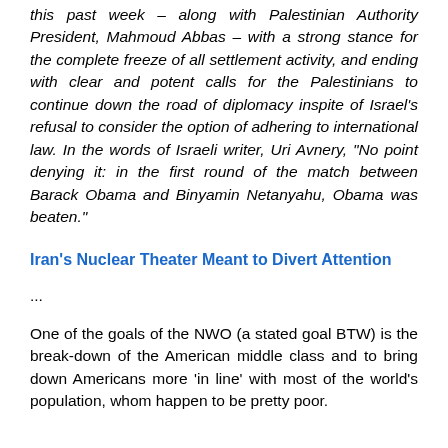this past week – along with Palestinian Authority President, Mahmoud Abbas – with a strong stance for the complete freeze of all settlement activity, and ending with clear and potent calls for the Palestinians to continue down the road of diplomacy inspite of Israel's refusal to consider the option of adhering to international law. In the words of Israeli writer, Uri Avnery, "No point denying it: in the first round of the match between Barack Obama and Binyamin Netanyahu, Obama was beaten."
Iran's Nuclear Theater Meant to Divert Attention
...
One of the goals of the NWO (a stated goal BTW) is the break-down of the American middle class and to bring down Americans more 'in line' with most of the world's population, whom happen to be pretty poor.